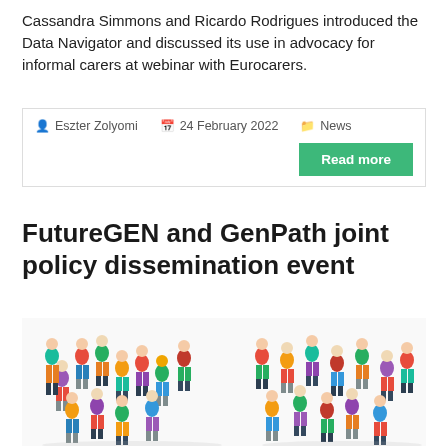Cassandra Simmons and Ricardo Rodrigues introduced the Data Navigator and discussed its use in advocacy for informal carers at webinar with Eurocarers.
👤 Eszter Zolyomi   📅 24 February 2022   📁 News
Read more
FutureGEN and GenPath joint policy dissemination event
[Figure (illustration): Illustration of colorful crowd of diverse people arranged to form letters or shapes, representing a group/community gathering.]